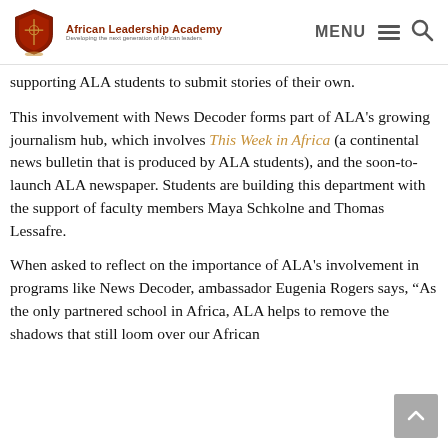African Leadership Academy — Developing the next generation of African leaders | MENU | Search
supporting ALA students to submit stories of their own.
This involvement with News Decoder forms part of ALA's growing journalism hub, which involves This Week in Africa (a continental news bulletin that is produced by ALA students), and the soon-to-launch ALA newspaper. Students are building this department with the support of faculty members Maya Schkolne and Thomas Lessafre.
When asked to reflect on the importance of ALA's involvement in programs like News Decoder, ambassador Eugenia Rogers says, “As the only partnered school in Africa, ALA helps to remove the shadows that still loom over our African